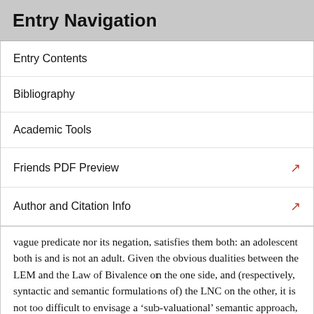Entry Navigation
Entry Contents
Bibliography
Academic Tools
Friends PDF Preview
Author and Citation Info
vague predicate nor its negation, satisfies them both: an adolescent both is and is not an adult. Given the obvious dualities between the LEM and the Law of Bivalence on the one side, and (respectively, syntactic and semantic formulations of) the LNC on the other, it is not too difficult to envisage a ‘sub-valuational’ semantic approach, dual to the supervaluation strategy. Sub-valuational paraconsistent semantics have been proposed by Hyde, 1997, and Varzi, 1997. Other ‘glutty’ approaches to vagueness have recently been proposed by Colyvan, 2009, Weber, 2010a, Priest, 2010, and Ripley,